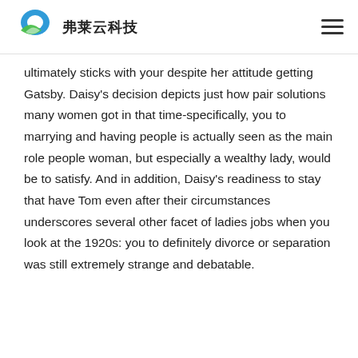弗莱云科技
ultimately sticks with your despite her attitude getting Gatsby. Daisy's decision depicts just how pair solutions many women got in that time-specifically, you to marrying and having people is actually seen as the main role people woman, but especially a wealthy lady, would be to satisfy. And in addition, Daisy's readiness to stay that have Tom even after their circumstances underscores several other facet of ladies jobs when you look at the 1920s: you to definitely divorce or separation was still extremely strange and debatable.